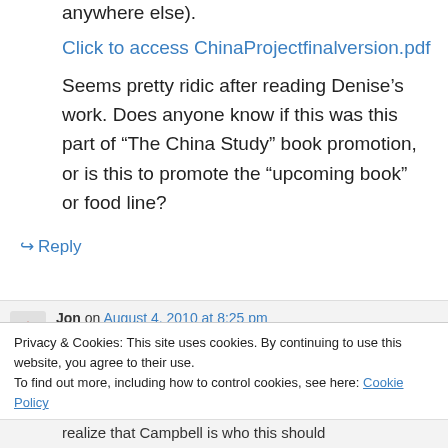anywhere else).
Click to access ChinaProjectfinalversion.pdf
Seems pretty ridic after reading Denise’s work. Does anyone know if this was this part of “The China Study” book promotion, or is this to promote the “upcoming book” or food line?
↵ Reply
Jon on August 4, 2010 at 8:25 pm
Privacy & Cookies: This site uses cookies. By continuing to use this website, you agree to their use.
To find out more, including how to control cookies, see here: Cookie Policy
Close and accept
realize that Campbell is who this should